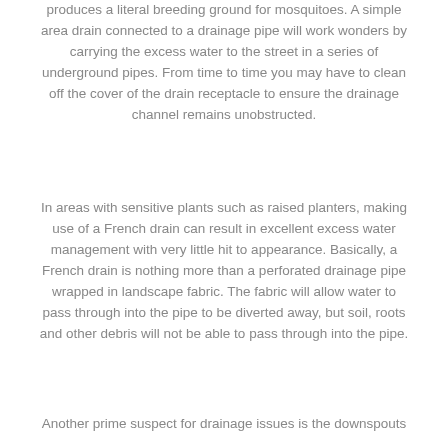produces a literal breeding ground for mosquitoes. A simple area drain connected to a drainage pipe will work wonders by carrying the excess water to the street in a series of underground pipes. From time to time you may have to clean off the cover of the drain receptacle to ensure the drainage channel remains unobstructed.
In areas with sensitive plants such as raised planters, making use of a French drain can result in excellent excess water management with very little hit to appearance. Basically, a French drain is nothing more than a perforated drainage pipe wrapped in landscape fabric. The fabric will allow water to pass through into the pipe to be diverted away, but soil, roots and other debris will not be able to pass through into the pipe.
Another prime suspect for drainage issues is the downspouts